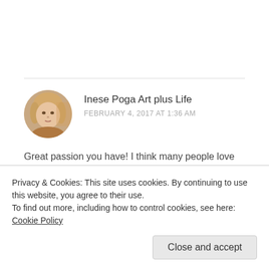[Figure (photo): Circular avatar photo of a woman with blonde/gray hair, warm skin tones, indoor background]
Inese Poga Art plus Life
FEBRUARY 4, 2017 AT 1:36 AM
Great passion you have! I think many people love sushi. I totally understand why one would learn to make the perfect variation. Thanks from
Privacy & Cookies: This site uses cookies. By continuing to use this website, you agree to their use.
To find out more, including how to control cookies, see here: Cookie Policy
Close and accept